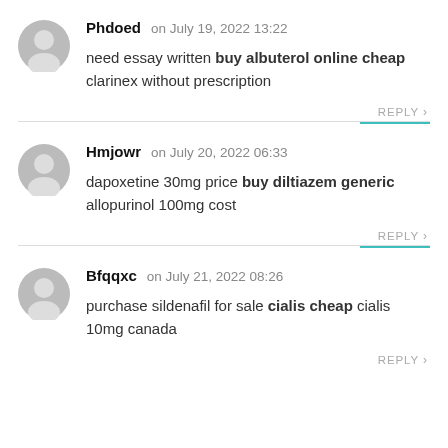Phdoed on July 19, 2022 13:22
need essay written buy albuterol online cheap clarinex without prescription
REPLY
Hmjowr on July 20, 2022 06:33
dapoxetine 30mg price buy diltiazem generic allopurinol 100mg cost
REPLY
Bfqqxc on July 21, 2022 08:26
purchase sildenafil for sale cialis cheap cialis 10mg canada
REPLY